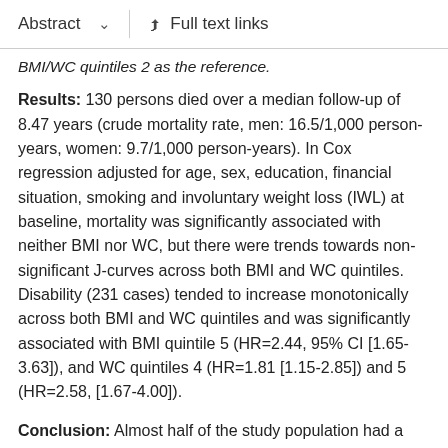Abstract   ∨     Full text links
BMI/WC quintiles 2 as the reference.
Results: 130 persons died over a median follow-up of 8.47 years (crude mortality rate, men: 16.5/1,000 person-years, women: 9.7/1,000 person-years). In Cox regression adjusted for age, sex, education, financial situation, smoking and involuntary weight loss (IWL) at baseline, mortality was significantly associated with neither BMI nor WC, but there were trends towards non-significant J-curves across both BMI and WC quintiles. Disability (231 cases) tended to increase monotonically across both BMI and WC quintiles and was significantly associated with BMI quintile 5 (HR=2.44, 95% CI [1.65-3.63]), and WC quintiles 4 (HR=1.81 [1.15-2.85]) and 5 (HR=2.58, [1.67-4.00]).
Conclusion: Almost half of the study population had a substantially increased HR of disability, as compared to